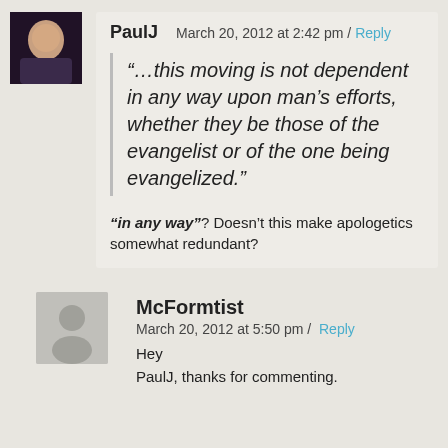PaulJ — March 20, 2012 at 2:42 pm / Reply
“…this moving is not dependent in any way upon man’s efforts, whether they be those of the evangelist or of the one being evangelized.”
“in any way”? Doesn’t this make apologetics somewhat redundant?
McFormtist — March 20, 2012 at 5:50 pm / Reply
Hey
PaulJ, thanks for commenting.